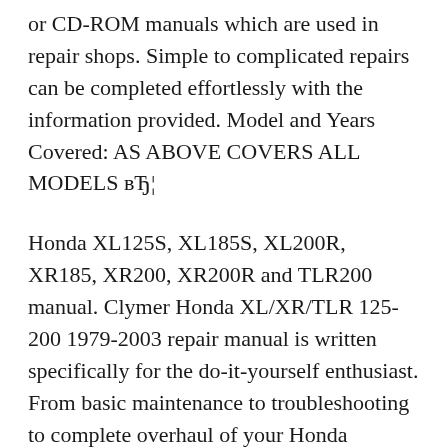or CD-ROM manuals which are used in repair shops. Simple to complicated repairs can be completed effortlessly with the information provided. Model and Years Covered: AS ABOVE COVERS ALL MODELS вЂ¦
Honda XL125S, XL185S, XL200R, XR185, XR200, XR200R and TLR200 manual. Clymer Honda XL/XR/TLR 125-200 1979-2003 repair manual is written specifically for the do-it-yourself enthusiast. From basic maintenance to troubleshooting to complete overhaul of your Honda XL/XR/TLR 125-200 1979-2003, Clymer manuals provide the information you need. Download Honda Xl 100 Service Manual - book pdf free download link or read online here in PDF. Read online Honda Xl 100 Service Manual -